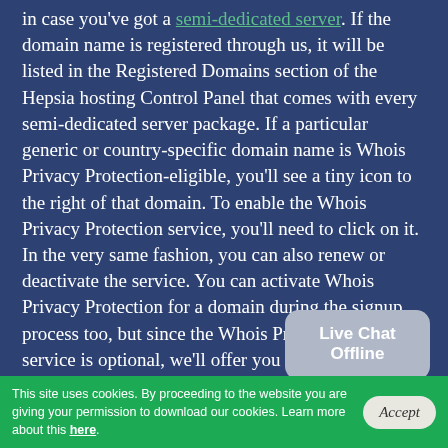in case you've got a semi-dedicated server. If the domain name is registered through us, it will be listed in the Registered Domains section of the Hepsia hosting Control Panel that comes with every semi-dedicated server package. If a particular generic or country-specific domain name is Whois Privacy Protection-eligible, you'll see a tiny icon to the right of that domain. To enable the Whois Privacy Protection service, you'll need to click on it. In the very same fashion, you can also renew or deactivate the service. You can activate Whois Privacy Protection for a domain during the signup process too, but since the Whois Privacy Protection service is optional, we'll offer you the chance to add it to any of your domains at a later point in time if you think things over and decide to hide your private details from the public eye after you've already ordered the semi-dedicated account.
[Figure (other): Live Chat Offline speech bubble widget in gray]
This site uses cookies. By proceeding to the website you are giving your permission to download our cookies. Learn more about this here.